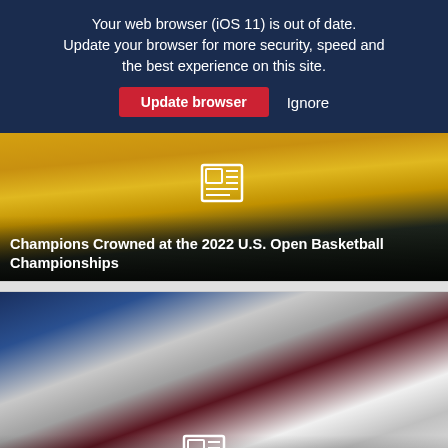Your web browser (iOS 11) is out of date. Update your browser for more security, speed and the best experience on this site.
Update browser   Ignore
[Figure (photo): Basketball players in yellow BROS jerseys huddled together, viewed from behind, with a coach visible on the right.]
Champions Crowned at the 2022 U.S. Open Basketball Championships
[Figure (photo): Basketball players scrambling for the ball during a game at the 2022 U.S. Open. Player in white jersey number 32 on the right. Player in red HAWKS jersey in the center.]
Saturday Round-up and Bracket Play at the 2022 U.S.